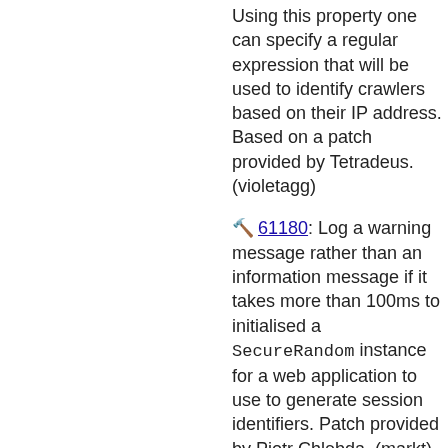Using this property one can specify a regular expression that will be used to identify crawlers based on their IP address. Based on a patch provided by Tetradeus. (violetagg)
61180: Log a warning message rather than an information message if it takes more than 100ms to initialised a SecureRandom instance for a web application to use to generate session identifiers. Patch provided by Piotr Chlebda. (markt)
61185: When an asynchronous request is dispatched via AsyncContext.dispatch() ensure that